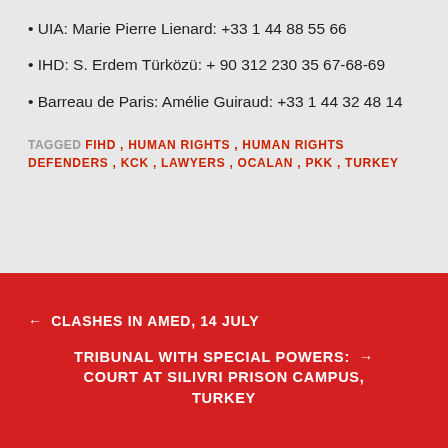UIA: Marie Pierre Lienard: +33 1 44 88 55 66
IHD: S. Erdem Türközü: + 90 312 230 35 67-68-69
Barreau de Paris: Amélie Guiraud: +33 1 44 32 48 14
TAGGED FIHD , HUMAN RIGHTS , HUMAN RIGHTS DEFENDERS , KCK , LAWYERS , OCALAN , PKK , TURKEY
← CLASHES IN AMED, 14 JULY
TRIBUNAL WITH SPECIAL POWERS: → COURT AT SILIVRI PRISON CAMPUS, TURKEY